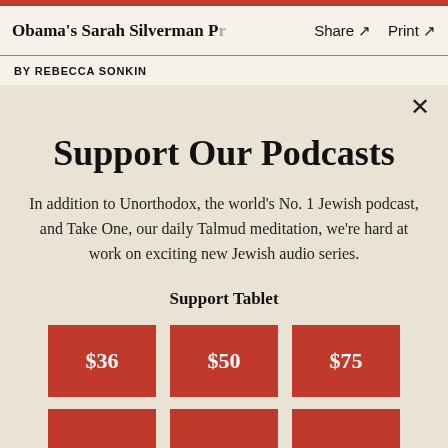Obama's Sarah Silverman P… Share ↗  Print ↗
BY REBECCA SONKIN
Support Our Podcasts
In addition to Unorthodox, the world's No. 1 Jewish podcast, and Take One, our daily Talmud meditation, we're hard at work on exciting new Jewish audio series.
Support Tablet
$36  $50  $75